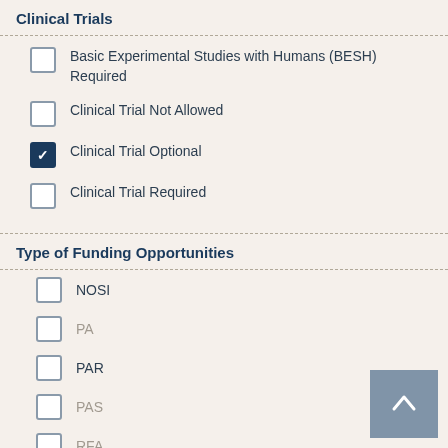Clinical Trials
Basic Experimental Studies with Humans (BESH) Required
Clinical Trial Not Allowed
Clinical Trial Optional (checked)
Clinical Trial Required
Type of Funding Opportunities
NOSI
PA
PAR
PAS
RFA